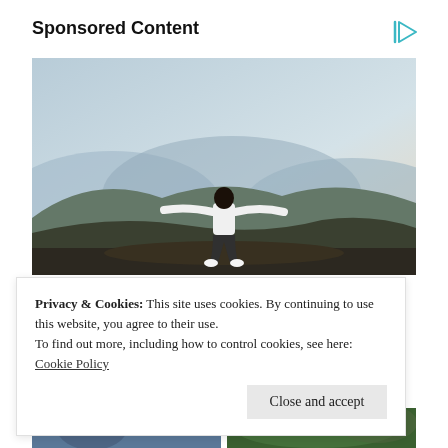Sponsored Content
[Figure (photo): Person standing on a mountain hilltop with arms outstretched in a T-pose, viewed from behind, wearing white shirt and dark pants, with hazy mountain ranges and blue sky in the background.]
Privacy & Cookies: This site uses cookies. By continuing to use this website, you agree to their use.
To find out more, including how to control cookies, see here: Cookie Policy
[Figure (photo): Two thumbnail images at the bottom of the page — left showing a person in blue tones, right showing a green nature scene.]